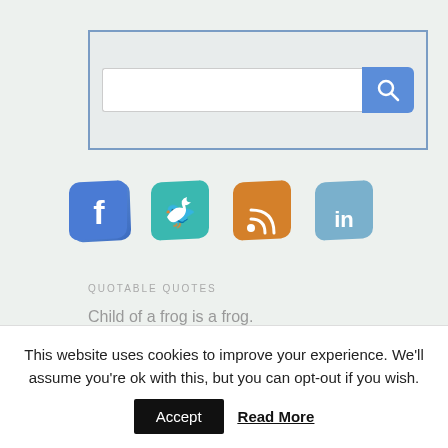[Figure (screenshot): Search bar widget with a white input field and a blue search button with magnifying glass icon, inside a light gray bordered box.]
[Figure (illustration): Four 3D-style social media icon buttons: Facebook (blue with f), Twitter (teal with bird), RSS (orange with signal icon), LinkedIn (light blue with in).]
QUOTABLE QUOTES
Child of a frog is a frog.
Japanese Proverb
BREAKING NEWS
This website uses cookies to improve your experience. We'll assume you're ok with this, but you can opt-out if you wish.
Accept
Read More